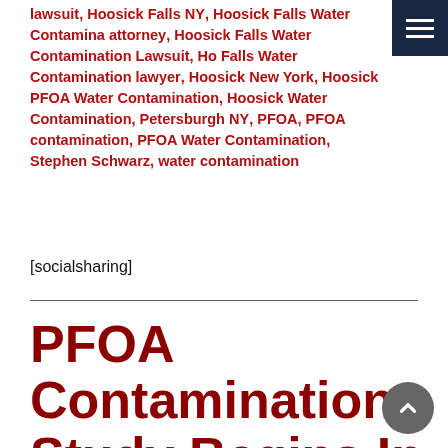lawsuit, Hoosick Falls NY, Hoosick Falls Water Contamination attorney, Hoosick Falls Water Contamination Lawsuit, Hoosick Falls Water Contamination lawyer, Hoosick New York, Hoosick PFOA Water Contamination, Hoosick Water Contamination, Petersburgh NY, PFOA, PFOA contamination, PFOA Water Contamination, Stephen Schwarz, water contamination
[socialsharing]
PFOA Contamination Study Begins In Petersburgh Taconic Plant